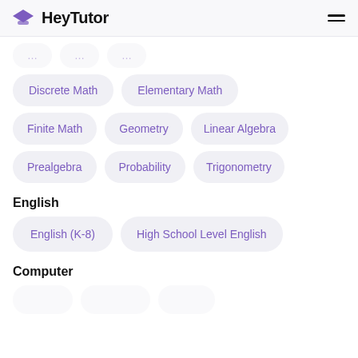[Figure (logo): HeyTutor logo with purple graduation cap icon and bold black text]
Discrete Math
Elementary Math
Finite Math
Geometry
Linear Algebra
Prealgebra
Probability
Trigonometry
English
English (K-8)
High School Level English
Computer